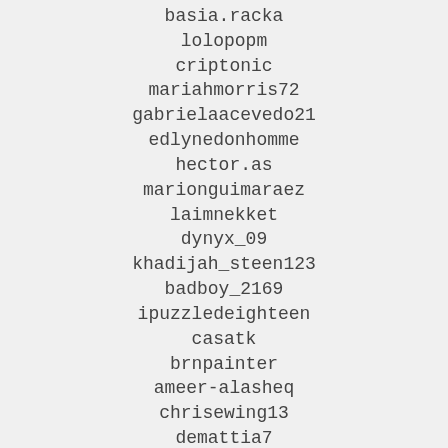basia.racka
lolopopm
criptonic
mariahmorris72
gabrielaacevedo21
edlynedonhomme
hector.as
marionguimaraez
laimnekket
dynyx_09
khadijah_steen123
badboy_2169
ipuzzledeighteen
casatk
brnpainter
ameer-alasheq
chrisewing13
demattia7
l1uke_ebay
hummedahmed
flaviovinicius
carolinsche
graco45
m.montisci